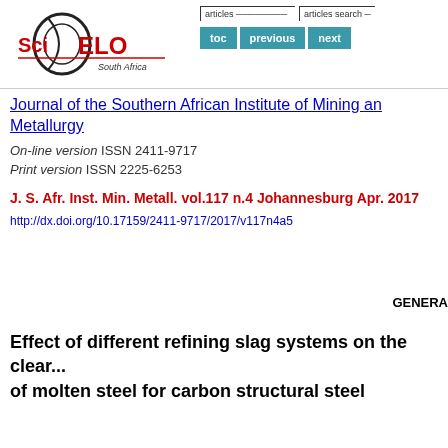[Figure (logo): SciELO South Africa logo with stylized oval graphic and text]
articles  toc  previous  next  articles search
Journal of the Southern African Institute of Mining and Metallurgy
On-line version ISSN 2411-9717
Print version ISSN 2225-6253
J. S. Afr. Inst. Min. Metall. vol.117 n.4 Johannesburg Apr. 2017
http://dx.doi.org/10.17159/2411-9717/2017/v117n4a5
GENERA
Effect of different refining slag systems on the cleanliness of molten steel for carbon structural steel